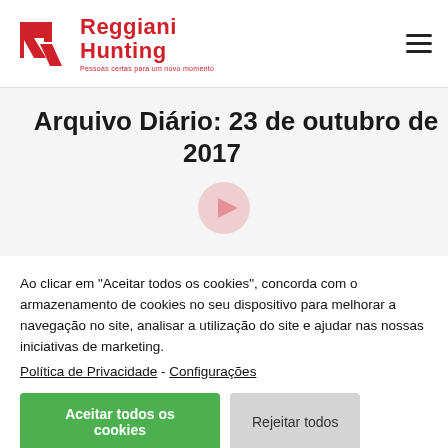[Figure (logo): Reggiani Hunting logo with stylized R icon in red and red text reading 'Reggiani Hunting' with tagline 'Pessoas certas para um novo momento']
Arquivo Diário: 23 de outubro de 2017
Ao clicar em "Aceitar todos os cookies", concorda com o armazenamento de cookies no seu dispositivo para melhorar a navegação no site, analisar a utilização do site e ajudar nas nossas iniciativas de marketing. Política de Privacidade - Configurações
Aceitar todos os cookies  Rejeitar todos